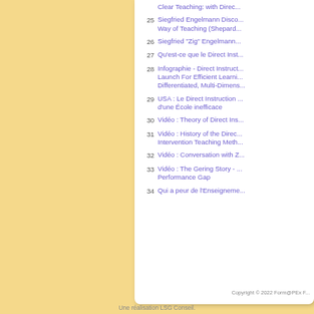Clear Teaching: with Direct...
25  Siegfried Engelmann Disco... Way of Teaching (Shepard...
26  Siegfried "Zig" Engelmann...
27  Qu'est-ce que le Direct Inst...
28  Infographie - Direct Instruct... Launch For Efficient Learni... Differentiated, Multi-Dimens...
29  USA : Le Direct Instruction ... d'une École inefficace
30  Vidéo : Theory of Direct Ins...
31  Vidéo : History of the Direc... Intervention Teaching Meth...
32  Vidéo : Conversation with Z...
33  Vidéo : The Gering Story - ... Performance Gap
34  Qui a peur de l'Enseigneme...
Copyright © 2022 Form@PEx F...
Une réalisation LSG Conseil.